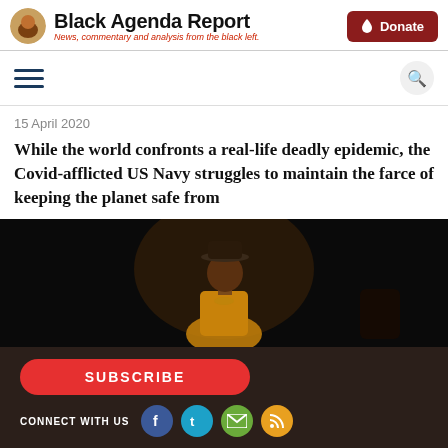Black Agenda Report — News, commentary and analysis from the black left.
15 April 2020
While the world confronts a real-life deadly epidemic, the Covid-afflicted US Navy struggles to maintain the farce of keeping the planet safe from
[Figure (photo): A Black man wearing a hat and tan jacket performing or speaking on a dark stage.]
SUBSCRIBE
CONNECT WITH US
ABOUT US  CONTACT US